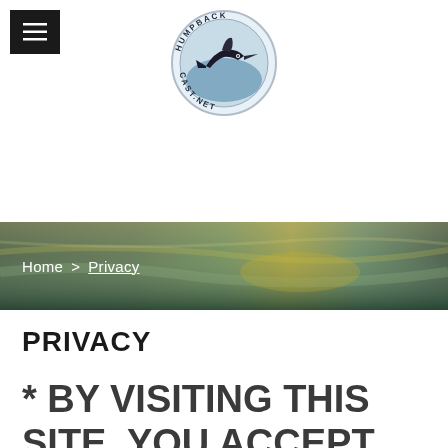[Figure (logo): Humpback Cast Net circular logo with a marlin fish in the center, text 'HUMPBACK CAST.NET' around the circle border]
[Figure (photo): Panoramic banner photo showing a blurred underwater or fishing scene with green water and light reflections]
Home > Privacy
PRIVACY
* BY VISITING THIS SITE, YOU ACCEPT THIS